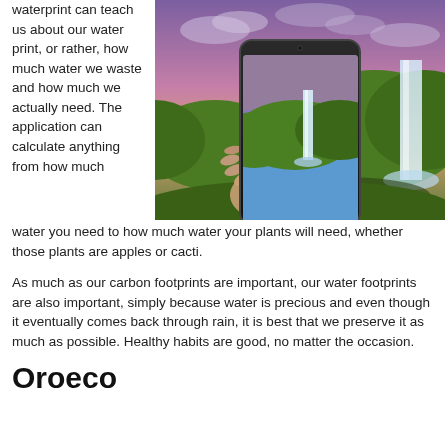waterprint can teach us about our water print, or rather, how much water we waste and how much we actually need. The application can calculate anything from how much water you need to how much water your plants will need, whether those plants are apples or cacti.
[Figure (photo): A hand holding a smartphone displaying a waterfall scene, with a real waterfall and lush green hills in the background under a dramatic purple-pink sky.]
As much as our carbon footprints are important, our water footprints are also important, simply because water is precious and even though it eventually comes back through rain, it is best that we preserve it as much as possible. Healthy habits are good, no matter the occasion.
Oroeco